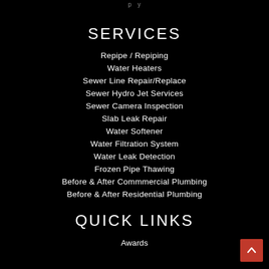p y
SERVICES
Repipe / Repiping
Water Heaters
Sewer Line Repair/Replace
Sewer Hydro Jet Services
Sewer Camera Inspection
Slab Leak Repair
Water Softener
Water Filtration System
Water Leak Detection
Frozen Pipe Thawing
Before & After Commmercial Plumbing
Before & After Residential Plumbing
QUICK LINKS
Awards